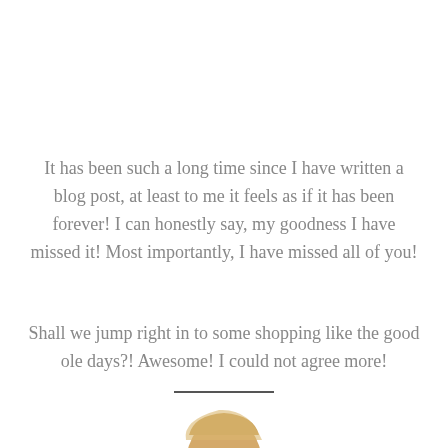It has been such a long time since I have written a blog post, at least to me it feels as if it has been forever! I can honestly say, my goodness I have missed it! Most importantly, I have missed all of you!
Shall we jump right in to some shopping like the good ole days?! Awesome! I could not agree more!
[Figure (photo): Partial photo of a blonde woman, cropped at the bottom of the page with a horizontal divider line above]